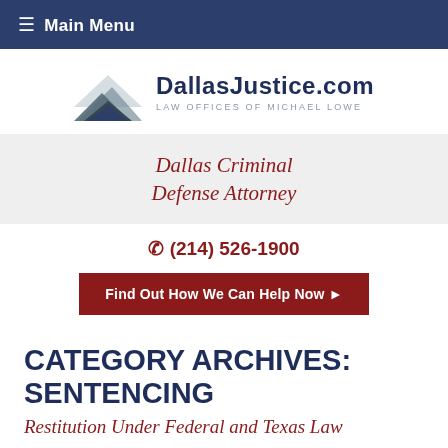≡ Main Menu
[Figure (logo): DallasJustice.com logo with layered mountain/wave graphic icon and text 'DallasJustice.com / Law Offices of Michael Lowe']
Dallas Criminal Defense Attorney
✆ (214) 526-1900
Find Out How We Can Help Now ▶
CATEGORY ARCHIVES: SENTENCING
Restitution Under Federal and Texas Law